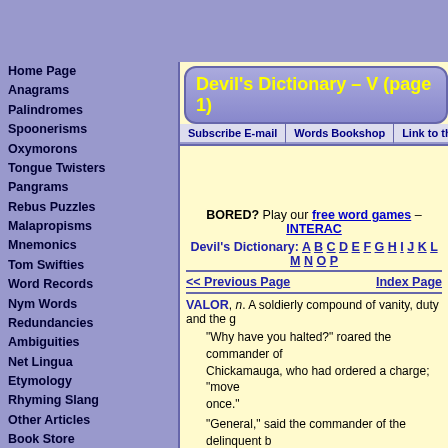Devil's Dictionary – V (page 1)
Home Page
Anagrams
Palindromes
Spoonerisms
Oxymorons
Tongue Twisters
Pangrams
Rebus Puzzles
Malapropisms
Mnemonics
Tom Swifties
Word Records
Nym Words
Redundancies
Ambiguities
Net Lingua
Etymology
Rhyming Slang
Other Articles
Book Store
Games Store
Contact Us
Newsletter
Link To This Site
Copyright
Site Credits
Privacy
Site Index
BORED? Play our free word games – INTERAC...
Devil's Dictionary: A B C D E F G H I J K L M N O P...
<< Previous Page    Index Page
VALOR, n. A soldierly compound of vanity, duty and the g...
"Why have you halted?" roared the commander of... Chickamauga, who had ordered a charge; "move... once."
"General," said the commander of the delinquent b... persuaded that any further display of valor by my r... them into collision with the enemy."
VANITY, n. The tribute of a fool to the worth of the nearest...
They say that bees do seek'st impudest when...